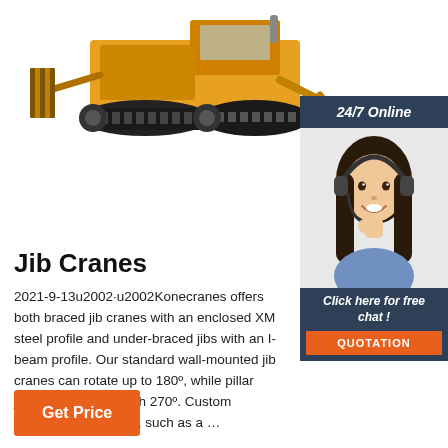[Figure (photo): Yellow bulldozer / tracked construction machine photographed from the side on a white background, showing crawler tracks and a ripper attachment.]
[Figure (photo): Chat widget showing a smiling female customer service representative wearing a headset, with a dark blue header reading '24/7 Online', italic text 'Click here for free chat !', and an orange QUOTATION button.]
Jib Cranes
2021-9-13u2002·u2002Konecranes offers both braced jib cranes with an enclosed XM steel profile and under-braced jibs with an I-beam profile. Our standard wall-mounted jib cranes can rotate up to 180°, while pillar jibs can move through 270°. Custom options are available, such as a …
Get Price